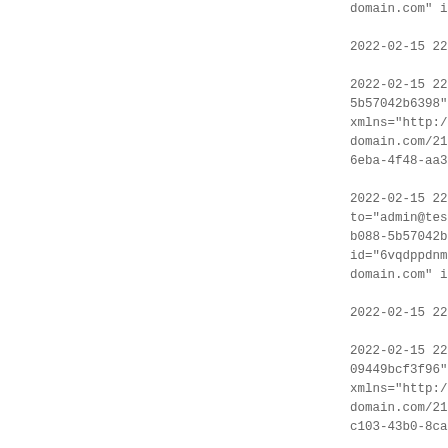domain.com" id="Eie1pd
2022-02-15 22:09:49 | |
2022-02-15 22:09:56 | 5b57042b6398" type="hea xmlns="http://jabber.o domain.com/2146430449-1 6eba-4f48-aa3d-8c6e9048
2022-02-15 22:09:56 | a to="admin@test-domain.c b088-5b57042b6398" by= id="6vqdppdnmk5cbhj3c7c domain.com" id="WkgfyrG
2022-02-15 22:09:56 | |
2022-02-15 22:10:03 | 09449bcf3f96" type="hea xmlns="http://jabber.o domain.com/2146430449-1 c103-43b0-8ca6-b00fac98
2022-02-15 22:10:03 | a to="admin@test-domain.c 075b-09449bcf3f96" by=